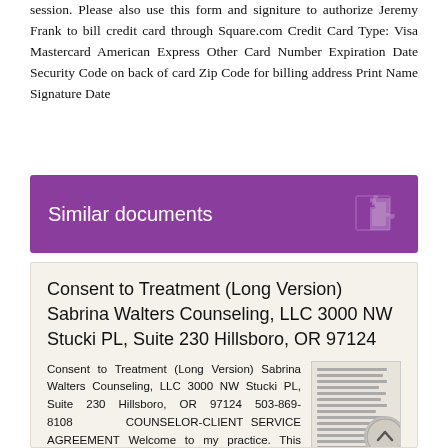session. Please also use this form and signiture to authorize Jeremy Frank to bill credit card through Square.com Credit Card Type: Visa Mastercard American Express Other Card Number Expiration Date Security Code on back of card Zip Code for billing address Print Name Signature Date
Similar documents
Consent to Treatment (Long Version) Sabrina Walters Counseling, LLC 3000 NW Stucki PL, Suite 230 Hillsboro, OR 97124
Consent to Treatment (Long Version) Sabrina Walters Counseling, LLC 3000 NW Stucki PL, Suite 230 Hillsboro, OR 97124 503-869-8108 COUNSELOR-CLIENT SERVICE AGREEMENT Welcome to my practice. This document